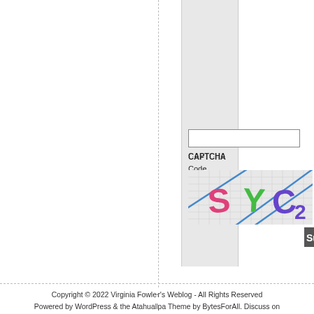[Figure (screenshot): CAPTCHA input field with label 'CAPTCHA Code' and a CAPTCHA image showing colorful distorted letters S, Y, C, 2 on a grid background with blue diagonal lines. Partially visible refresh/audio icons and a Submit button cropped on the right edge.]
Copyright © 2022 Virginia Fowler's Weblog - All Rights Reserved
Powered by WordPress & the Atahualpa Theme by BytesForAll. Discuss on our WP Forum